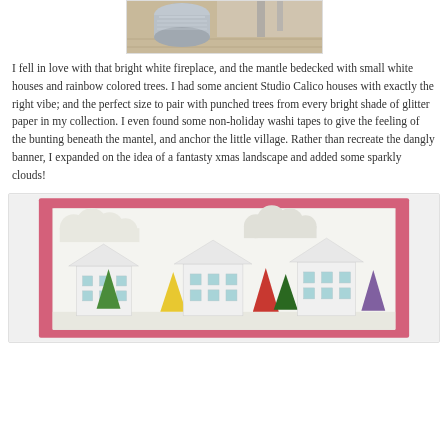[Figure (photo): Top portion of a crafting/home photo showing metallic cylindrical objects and wooden floor, partially cropped]
I fell in love with that bright white fireplace, and the mantle bedecked with small white houses and rainbow colored trees. I had some ancient Studio Calico houses with exactly the right vibe; and the perfect size to pair with punched trees from every bright shade of glitter paper in my collection. I even found some non-holiday washi tapes to give the feeling of the bunting beneath the mantel, and anchor the little village. Rather than recreate the dangly banner, I expanded on the idea of a fantasty xmas landscape and added some sparkly clouds!
[Figure (photo): A handmade Christmas card or scrapbook layout featuring a pink/red border, white houses, colorful glitter paper trees in green, yellow, red, purple, and white fluffy cloud die-cuts on a light background]